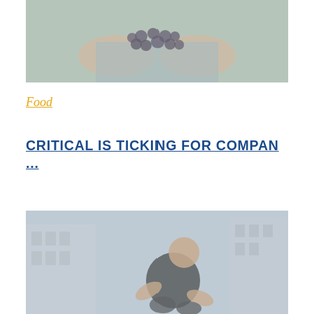[Figure (photo): Hands holding dark berries (blueberries), person wearing light blue shirt, outdoor background]
Food
CRITICAL IS TICKING FOR COMPAN ...
[Figure (photo): Athletic man in black tank top crouching outdoors, urban building background, fitness scene]